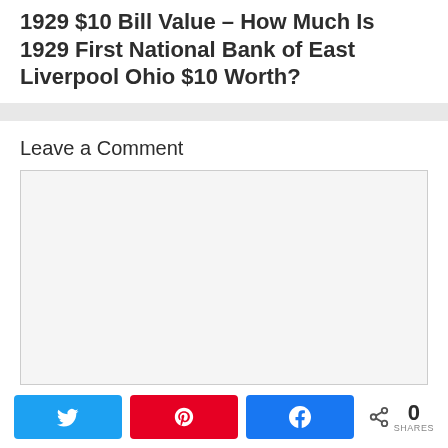1929 $10 Bill Value – How Much Is 1929 First National Bank of East Liverpool Ohio $10 Worth?
Leave a Comment
[Figure (other): Comment text area input box (empty, light gray background)]
[Figure (other): Social share bar with Twitter, Pinterest, Facebook buttons and share count of 0]